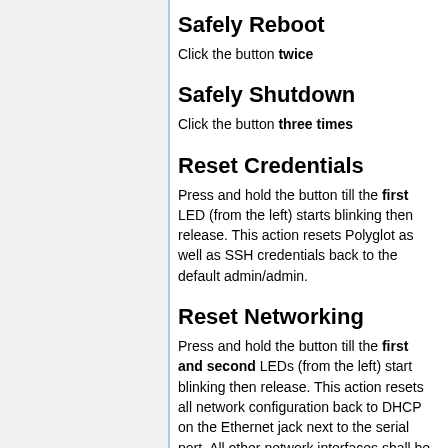Safely Reboot
Click the button twice
Safely Shutdown
Click the button three times
Reset Credentials
Press and hold the button till the first LED (from the left) starts blinking then release. This action resets Polyglot as well as SSH credentials back to the default admin/admin.
Reset Networking
Press and hold the button till the first and second LEDs (from the left) start blinking then release. This action resets all network configuration back to DHCP on the Ethernet jack next to the serial port. All other network interfaces shall be disabled.